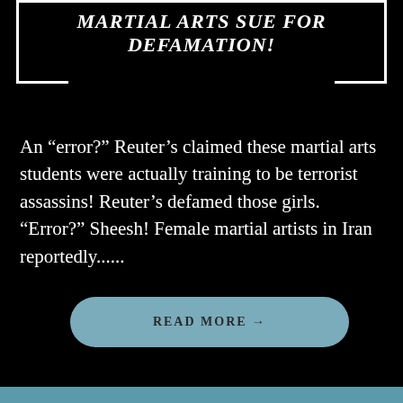MARTIAL ARTS SUE FOR DEFAMATION!
An “error?” Reuter’s claimed these martial arts students were actually training to be terrorist assassins! Reuter’s defamed those girls. “Error?” Sheesh! Female martial artists in Iran reportedly......
READ MORE →